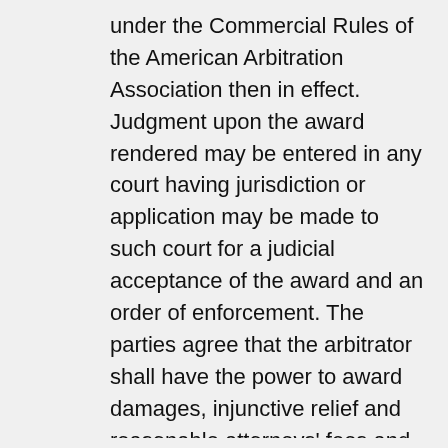under the Commercial Rules of the American Arbitration Association then in effect. Judgment upon the award rendered may be entered in any court having jurisdiction or application may be made to such court for a judicial acceptance of the award and an order of enforcement. The parties agree that the arbitrator shall have the power to award damages, injunctive relief and reasonable attorneys' fees and expenses to the prevailing party. Notwithstanding any of the foregoing, THE ARBITRATOR WILL NOT BE EMPOWERED AND DOES NOT HAVE THE AUTHORITY TO HEAR OR DECIDE ANY CLASS, CONSOLIDATED OR REPRESENTATIVE ACTION, TO AWARD PUNITIVE OR EXEMPLARY DAMAGES OR TO AWARD ATTORNEYS' FEES TO THE PREVAILING PARTY.
You may opt out of this agreement to arbitrate by